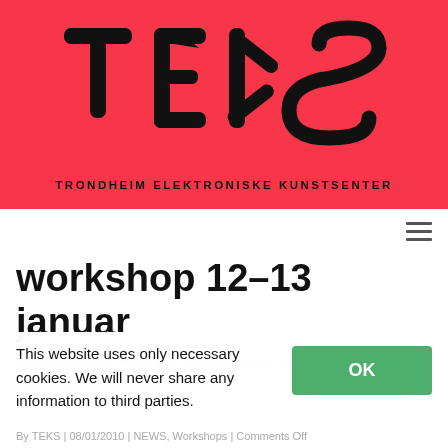[Figure (logo): TEKS logo — large bold black letters T, E (mirrored), K, S on a red/coral background, with subtitle 'TRONDHEIM ELEKTRONISKE KUNSTSENTER']
workshop 12-13 januar
Minitronics er en enkel liten mikrokontroller for å koble sammen [...]
This website uses only necessary cookies. We will never share any information to third parties.
By TEKS | 08/01/2010 | NEWS, Workshops | Comments Off